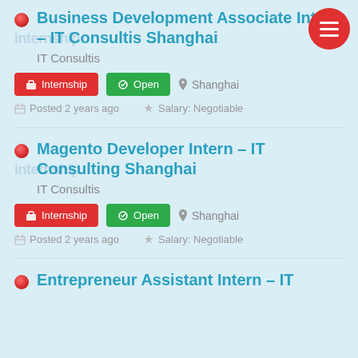[Figure (other): Red circular hamburger menu button in top-right corner with three horizontal white lines]
Business Development Associate Intern – IT Consultis Shanghai
IT Consultis
Internship  Open  Shanghai
Posted 2 years ago  Salary: Negotiable
Magento Developer Intern – IT Consulting Shanghai
IT Consultis
Internship  Open  Shanghai
Posted 2 years ago  Salary: Negotiable
Entrepreneur Assistant Intern – IT...